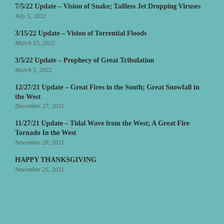7/5/22 Update – Vision of Snake; Tailless Jet Dropping Viruses
July 5, 2022
3/15/22 Update – Vision of Torrential Floods
March 15, 2022
3/5/22 Update – Prophecy of Great Tribulation
March 5, 2022
12/27/21 Update – Great Fires in the South; Great Snowfall in the West
December 27, 2021
11/27/21 Update – Tidal Wave from the West; A Great Fire Tornado In the West
November 28, 2021
HAPPY THANKSGIVING
November 25, 2021